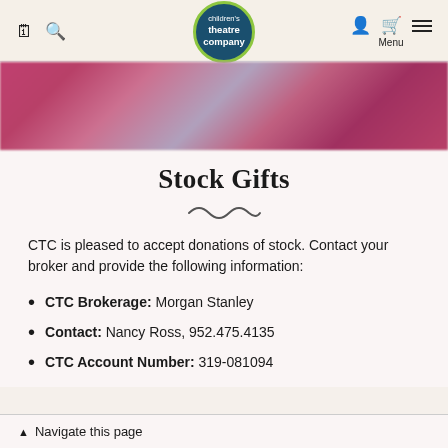Children's Theatre Company — navigation header with logo
[Figure (photo): Blurred hero banner image with pink/red and purple tones]
Stock Gifts
CTC is pleased to accept donations of stock. Contact your broker and provide the following information:
CTC Brokerage: Morgan Stanley
Contact: Nancy Ross, 952.475.4135
CTC Account Number: 319-081094
▲ Navigate this page